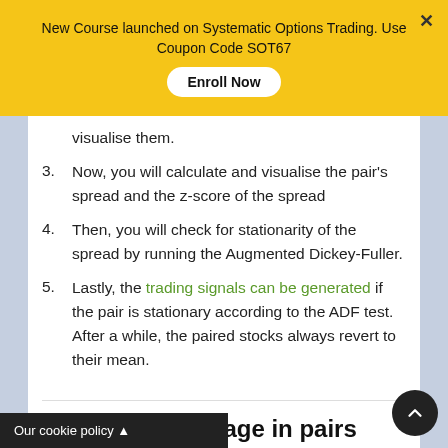New Course launched on Systematic Options Trading. Use Coupon Code SOT67 Enroll Now
visualise them.
Now, you will calculate and visualise the pair's spread and the z-score of the spread
Then, you will check for stationarity of the spread by running the Augmented Dickey-Fuller.
Lastly, the trading signals can be generated if the pair is stationary according to the ADF test. After a while, the paired stocks always revert to their mean.
Statistical arbitrage in pairs trading using Python